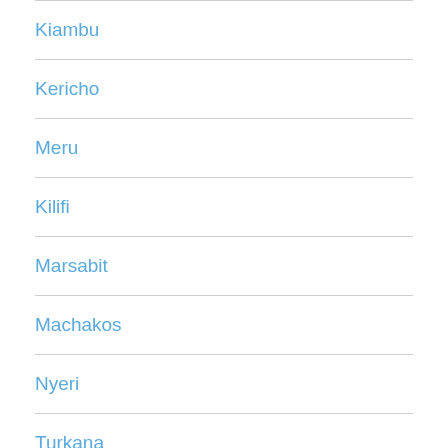Kiambu
Kericho
Meru
Kilifi
Marsabit
Machakos
Nyeri
Turkana